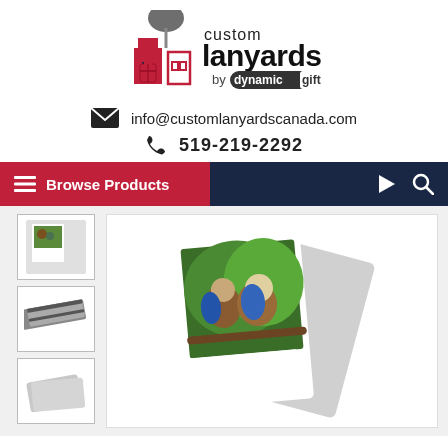[Figure (logo): Custom Lanyards by Dynamic Gift logo with stylized red building and tree graphic]
info@customlanyardscanada.com
519-219-2292
[Figure (screenshot): Navigation bar with Browse Products menu in red and dark navy background with play and search icons]
[Figure (photo): Product page showing custom printed photo cards/PVC cards with kookaburra bird photo print, plus two thumbnail images of striped and plain cards]